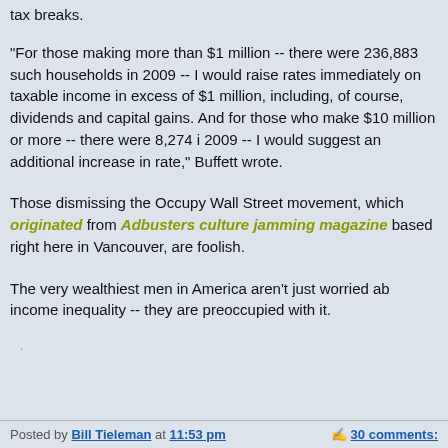tax breaks.
"For those making more than $1 million -- there were 236,883 such households in 2009 -- I would raise rates immediately on taxable income in excess of $1 million, including, of course, dividends and capital gains. And for those who make $10 million or more -- there were 8,274 i 2009 -- I would suggest an additional increase in rate," Buffett wrote.
Those dismissing the Occupy Wall Street movement, which originated from Adbusters culture jamming magazine based right here in Vancouver, are foolish.
The very wealthiest men in America aren't just worried ab income inequality -- they are preoccupied with it.
Posted by Bill Tieleman at 11:53 pm   30 comments: